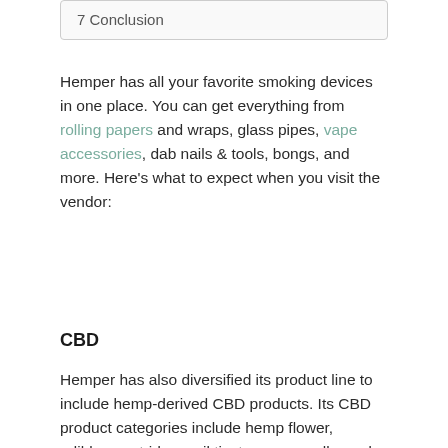| 7 Conclusion |
Hemper has all your favorite smoking devices in one place. You can get everything from rolling papers and wraps, glass pipes, vape accessories, dab nails & tools, bongs, and more. Here’s what to expect when you visit the vendor:
CBD
Hemper has also diversified its product line to include hemp-derived CBD products. Its CBD product categories include hemp flower, edibles, cartridges, oil tinctures, pre-rolls, and CBD for pets.